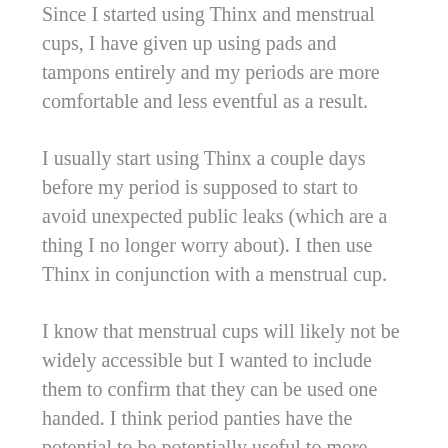Since I started using Thinx and menstrual cups, I have given up using pads and tampons entirely and my periods are more comfortable and less eventful as a result.
I usually start using Thinx a couple days before my period is supposed to start to avoid unexpected public leaks (which are a thing I no longer worry about). I then use Thinx in conjunction with a menstrual cup.
I know that menstrual cups will likely not be widely accessible but I wanted to include them to confirm that they can be used one handed. I think period panties have the potential to be potentially useful to more people if only they weren't so initially cost prohibitive. Particularly